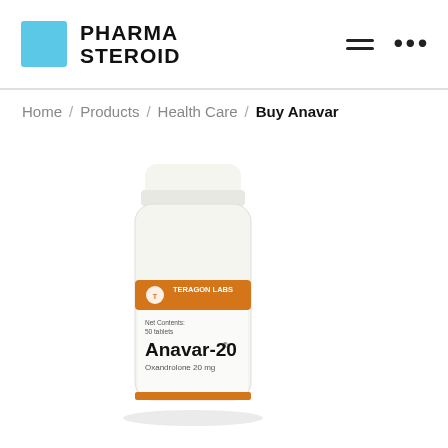PHARMA STEROID
Home / Products / Health Care / Buy Anavar
[Figure (photo): White pill bottle labeled 'TERAGON LABS - Anavar-20 - Oxandrolone 20 mg' with orange label band]